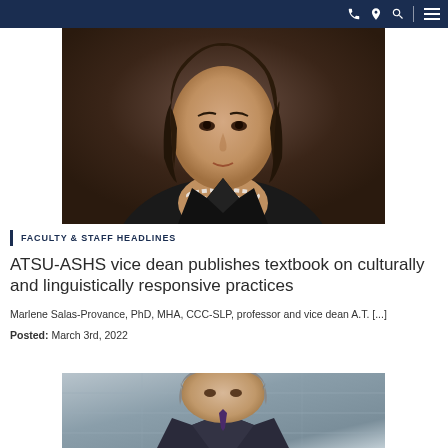Navigation bar with phone, location, search icons and menu
[Figure (photo): Portrait photo of a woman with dark hair wearing a black blazer and pearl necklace, cropped to show shoulders and face]
FACULTY & STAFF HEADLINES
ATSU-ASHS vice dean publishes textbook on culturally and linguistically responsive practices
Marlene Salas-Provance, PhD, MHA, CCC-SLP, professor and vice dean A.T. [...]
Posted: March 3rd, 2022
[Figure (photo): Portrait photo of a man with gray hair wearing a suit, cropped to show head and upper shoulders against a blurred architectural background]